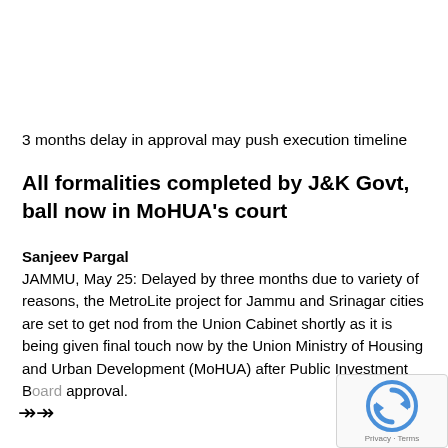3 months delay in approval may push execution timeline
All formalities completed by J&K Govt, ball now in MoHUA's court
Sanjeev Pargal
JAMMU, May 25: Delayed by three months due to variety of reasons, the MetroLite project for Jammu and Srinagar cities are set to get nod from the Union Cabinet shortly as it is being given final touch now by the Union Ministry of Housing and Urban Development (MoHUA) after Public Investment B approval.